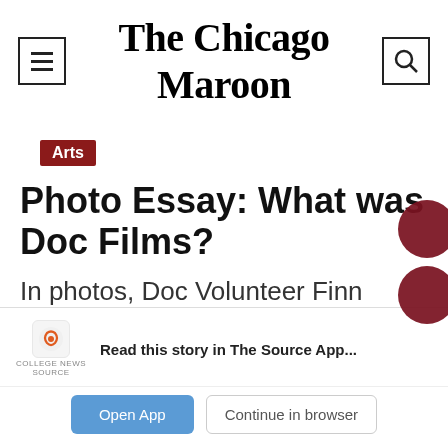The Chicago Maroon
Arts
Photo Essay: What was Doc Films?
In photos, Doc Volunteer Finn Jubak documents “a sliver of a sliver of a sliver of Doc Films
Read this story in The Source App...
Open App   Continue in browser